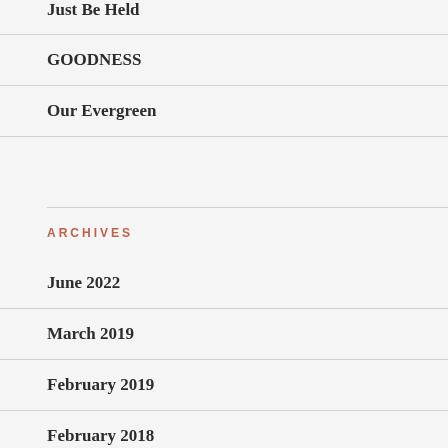Just Be Held
GOODNESS
Our Evergreen
ARCHIVES
June 2022
March 2019
February 2019
February 2018